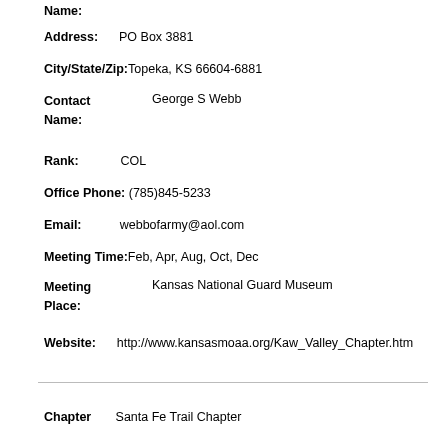Name:
Address: PO Box 3881
City/State/Zip: Topeka, KS 66604-6881
Contact Name: George S Webb
Rank: COL
Office Phone: (785)845-5233
Email: webbofarmy@aol.com
Meeting Time: Feb, Apr, Aug, Oct, Dec
Meeting Place: Kansas National Guard Museum
Website: http://www.kansasmoaa.org/Kaw_Valley_Chapter.htm
Chapter Santa Fe Trail Chapter